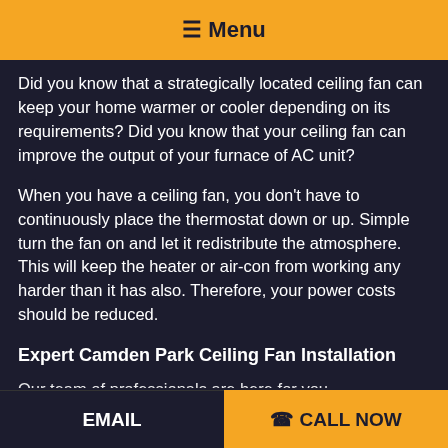☰ Menu
Did you know that a strategically located ceiling fan can keep your home warmer or cooler depending on its requirements? Did you know that your ceiling fan can improve the output of your furnace of AC unit?
When you have a ceiling fan, you don't have to continuously place the thermostat down or up. Simple turn the fan on and let it redistribute the atmosphere. This will keep the heater or air-con from working any harder than it has also. Therefore, your power costs should be reduced.
Expert Camden Park Ceiling Fan Installation
Our team of professionals are here for you
EMAIL   ☎ CALL NOW